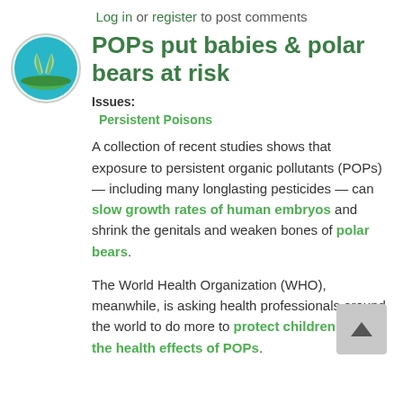Log in or register to post comments
[Figure (logo): Circular logo with a green plant/leaf icon on a teal/blue background]
POPs put babies & polar bears at risk
Issues:
Persistent Poisons
A collection of recent studies shows that exposure to persistent organic pollutants (POPs) — including many longlasting pesticides — can slow growth rates of human embryos and shrink the genitals and weaken bones of polar bears.
The World Health Organization (WHO), meanwhile, is asking health professionals around the world to do more to protect children from the health effects of POPs.